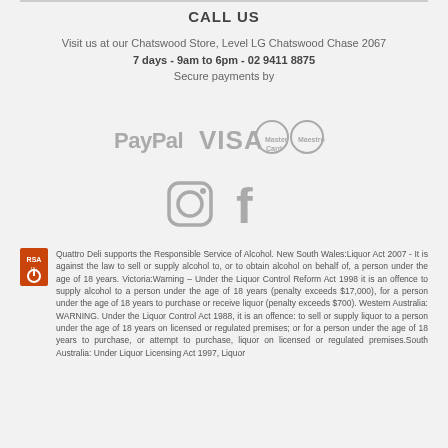CALL US
Visit us at our Chatswood Store, Level LG Chatswood Chase 2067
7 days - 9am to 6pm - 02 9411 8875
Secure payments by
[Figure (logo): Payment logos: PayPal, VISA, MasterCard, Maestro]
[Figure (logo): Social media icons: Instagram, Facebook]
Quattro Deli supports the Responsible Service of Alcohol. New South Wales:Liquor Act 2007 - It is against the law to sell or supply alcohol to, or to obtain alcohol on behalf of, a person under the age of 18 years. Victoria:Warning - Under the Liquor Control Reform Act 1998 it is an offence to supply alcohol to a person under the age of 18 years (penalty exceeds $17,000), for a person under the age of 18 years to purchase or receive liquor (penalty exceeds $700). Western Australia: WARNING. Under the Liquor Control Act 1988, it is an offence: to sell or supply liquor to a person under the age of 18 years on licensed or regulated premises; or for a person under the age of 18 years to purchase, or attempt to purchase, liquor on licensed or regulated premises.South Australia: Under Liquor Licensing Act 1997, Liquor